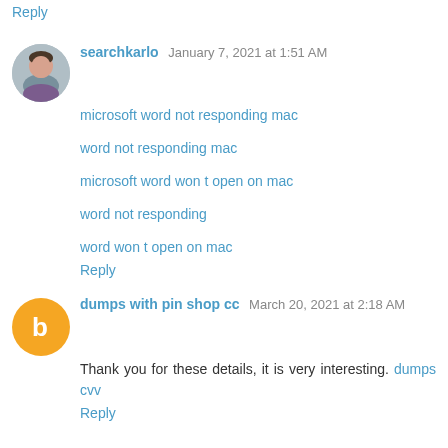Reply
searchkarlo  January 7, 2021 at 1:51 AM
microsoft word not responding mac
word not responding mac
microsoft word won t open on mac
word not responding
word won t open on mac
Reply
dumps with pin shop cc  March 20, 2021 at 2:18 AM
Thank you for these details, it is very interesting. dumps cvv
Reply